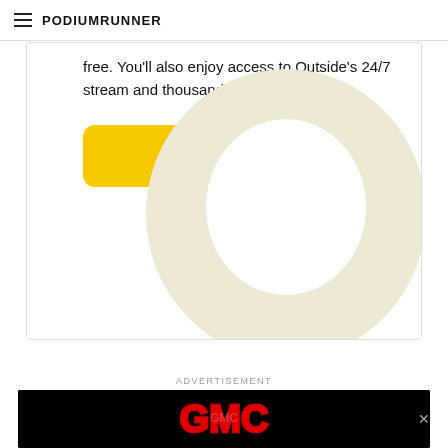PodiumRunner
free. You'll also enjoy access to Outside's 24/7 stream and thousands of free videos.
[Figure (other): Yellow 'DOWNLOAD APP' button with rounded corners]
[Figure (logo): Large decorative cream/beige 'O' logo watermark in the bottom-right of the card]
ADVERTISEMENT
[Figure (logo): GMC advertisement banner with red stylized GMC logo on black background, with an X close button]